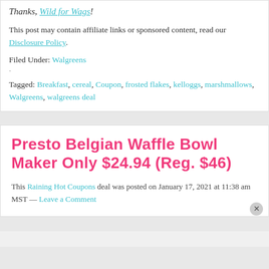Thanks, Wild for Wags!
This post may contain affiliate links or sponsored content, read our Disclosure Policy.
Filed Under: Walgreens
Tagged: Breakfast, cereal, Coupon, frosted flakes, kelloggs, marshmallows, Walgreens, walgreens deal
Presto Belgian Waffle Bowl Maker Only $24.94 (Reg. $46)
This Raining Hot Coupons deal was posted on January 17, 2021 at 11:38 am MST — Leave a Comment